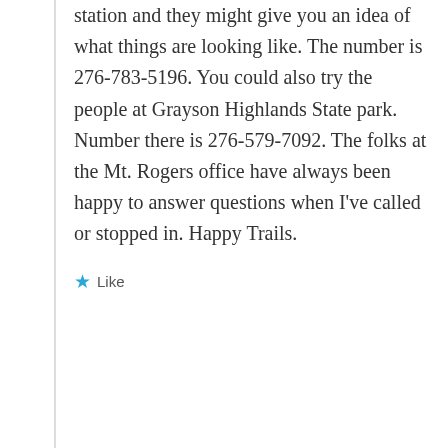station and they might give you an idea of what things are looking like. The number is 276-783-5196. You could also try the people at Grayson Highlands State park. Number there is 276-579-7092. The folks at the Mt. Rogers office have always been happy to answer questions when I've called or stopped in. Happy Trails.
Like
DJ-WEMT  October 18, 2015 at 2:06 am  REPLY
I've done this hike 2x. Once in 2010 from